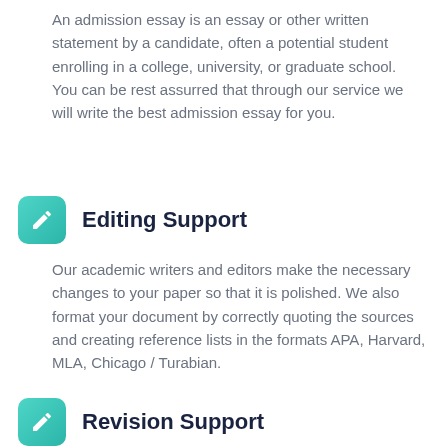An admission essay is an essay or other written statement by a candidate, often a potential student enrolling in a college, university, or graduate school. You can be rest assurred that through our service we will write the best admission essay for you.
Editing Support
Our academic writers and editors make the necessary changes to your paper so that it is polished. We also format your document by correctly quoting the sources and creating reference lists in the formats APA, Harvard, MLA, Chicago / Turabian.
Revision Support